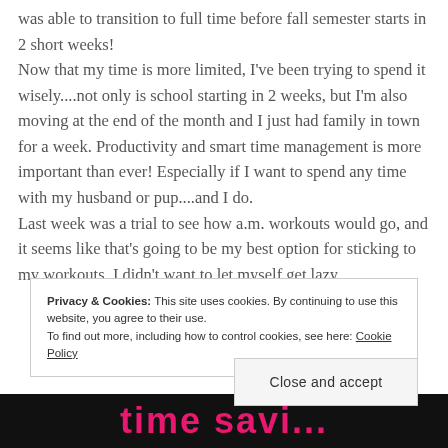was able to transition to full time before fall semester starts in 2 short weeks! Now that my time is more limited, I've been trying to spend it wisely....not only is school starting in 2 weeks, but I'm also moving at the end of the month and I just had family in town for a week. Productivity and smart time management is more important than ever! Especially if I want to spend any time with my husband or pup....and I do. Last week was a trial to see how a.m. workouts would go, and it seems like that's going to be my best option for sticking to my workouts. I didn't want to let myself get lazy,
Privacy & Cookies: This site uses cookies. By continuing to use this website, you agree to their use. To find out more, including how to control cookies, see here: Cookie Policy
Close and accept
[Figure (photo): Partial bottom banner image showing pink/magenta stylized text on dark background]